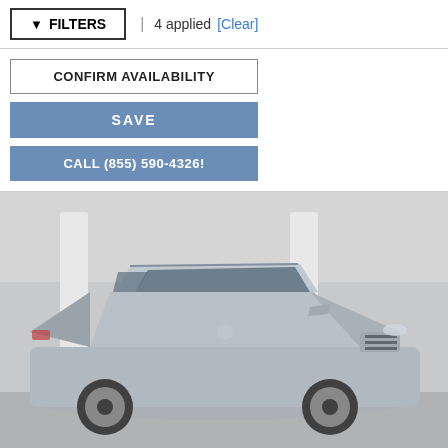FILTERS | 4 applied [Clear]
CONFIRM AVAILABILITY
SAVE
CALL (855) 590-4326!
[Figure (photo): Silver/gray Volkswagen Tiguan SUV parked in front of a building with white columns, viewed from a front three-quarter angle]